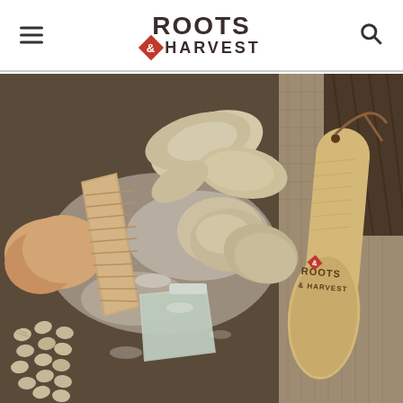Roots & Harvest — navigation header with hamburger menu, centered logo, and search icon
[Figure (photo): Overhead view of gnocchi-making process: hands holding a ridged wooden gnocchi board, raw dough pieces dusted with flour on a work surface, small formed gnocchi pieces on the left, a plastic bench scraper, and a branded Roots & Harvest wooden paddle/board with leather cord hanging loop on the right, all on a flour-dusted dark countertop and burlap fabric background.]